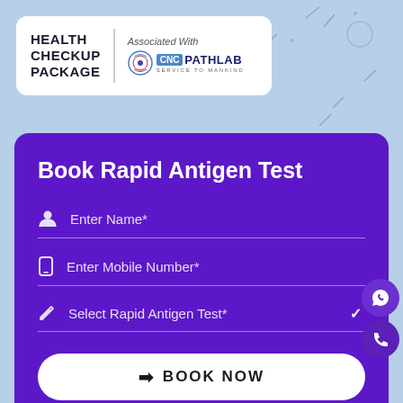[Figure (logo): Health Checkup Package header card with CNC Pathlab 'Service to Mankind' logo. White card showing 'HEALTH CHECKUP PACKAGE' text on the left with a vertical divider, and 'Associated With' text above the CNC Pathlab logo on the right.]
Book Rapid Antigen Test
Enter Name*
Enter Mobile Number*
Select Rapid Antigen Test*
BOOK NOW